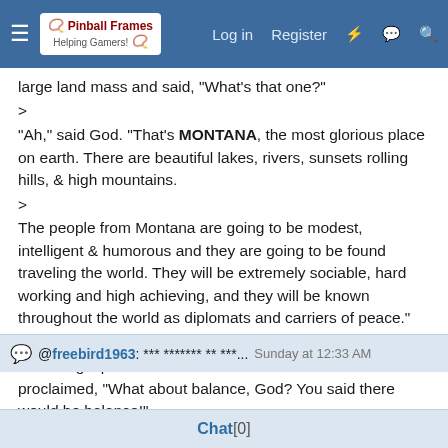Log in  Register
large land mass and said, "What's that one?"
>
"Ah," said God. "That's MONTANA, the most glorious place on earth. There are beautiful lakes, rivers, sunsets rolling hills, & high mountains.
>
The people from Montana are going to be modest, intelligent & humorous and they are going to be found traveling the world. They will be extremely sociable, hard working and high achieving, and they will be known throughout the world as diplomats and carriers of peace."
>
Michael gasped in wonder and admiration but then proclaimed, "What about balance, God? You said there would be balance!"
>
God replied wisely, "Wait until you see the idiots I'm putting
@ freebird1963: *** ******* ** ***...  Sunday at 12:33 AM
Chat [0]